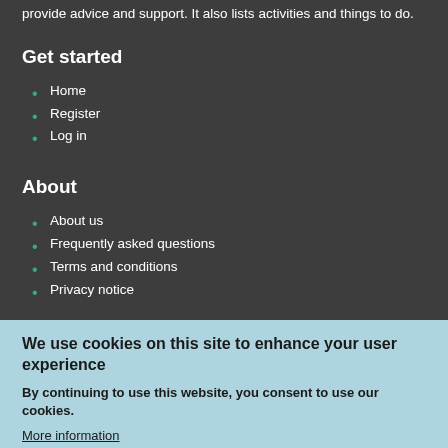provide advice and support. It also lists activities and things to do.
Get started
Home
Register
Log in
About
About us
Frequently asked questions
Terms and conditions
Privacy notice
We use cookies on this site to enhance your user experience
By continuing to use this website, you consent to use our cookies.
More information